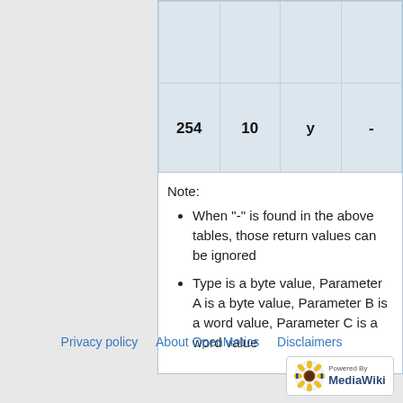|  |  |  |  |
| --- | --- | --- | --- |
|  |  |  |  |
| 254 | 10 | y | - |
Note:
When "-" is found in the above tables, those return values can be ignored
Type is a byte value, Parameter A is a byte value, Parameter B is a word value, Parameter C is a word value
Privacy policy   About OpenMotics   Disclaimers